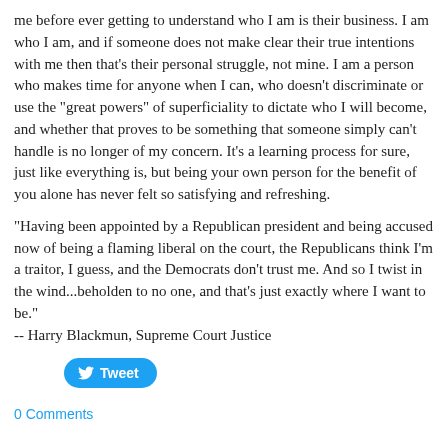me before ever getting to understand who I am is their business. I am who I am, and if someone does not make clear their true intentions with me then that's their personal struggle, not mine. I am a person who makes time for anyone when I can, who doesn't discriminate or use the "great powers" of superficiality to dictate who I will become, and whether that proves to be something that someone simply can't handle is no longer of my concern. It's a learning process for sure, just like everything is, but being your own person for the benefit of you alone has never felt so satisfying and refreshing.
"Having been appointed by a Republican president and being accused now of being a flaming liberal on the court, the Republicans think I'm a traitor, I guess, and the Democrats don't trust me. And so I twist in the wind...beholden to no one, and that's just exactly where I want to be."
-- Harry Blackmun, Supreme Court Justice
[Figure (other): Twitter Tweet button (blue rounded rectangle with bird icon and 'Tweet' text)]
0 Comments